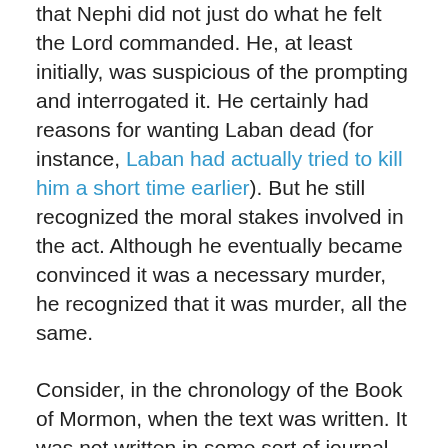that Nephi did not just do what he felt the Lord commanded. He, at least initially, was suspicious of the prompting and interrogated it. He certainly had reasons for wanting Laban dead (for instance, Laban had actually tried to kill him a short time earlier). But he still recognized the moral stakes involved in the act. Although he eventually became convinced it was a necessary murder, he recognized that it was murder, all the same.
Consider, in the chronology of the Book of Mormon, when the text was written. It was not written in some sort of journal, kept by Nephi during his exciting wilderness adventures. It was written by a much older Nephi, reflecting back on this moment. Perhaps he actually did just kill Laban and he is looking back, recognizing the repugnance of the act, and trying to justify it to himself. We do know that Nephi carried the burden of his faults